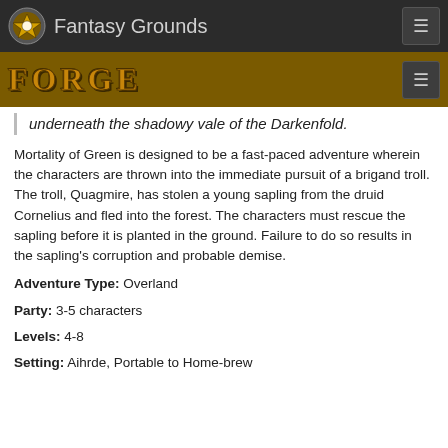Fantasy Grounds
[Figure (logo): Fantasy Grounds logo with circular badge and FORGE text on golden bar]
underneath the shadowy vale of the Darkenfold.
Mortality of Green is designed to be a fast-paced adventure wherein the characters are thrown into the immediate pursuit of a brigand troll. The troll, Quagmire, has stolen a young sapling from the druid Cornelius and fled into the forest. The characters must rescue the sapling before it is planted in the ground. Failure to do so results in the sapling's corruption and probable demise.
Adventure Type: Overland
Party: 3-5 characters
Levels: 4-8
Setting: Aihrde, Portable to Home-brew